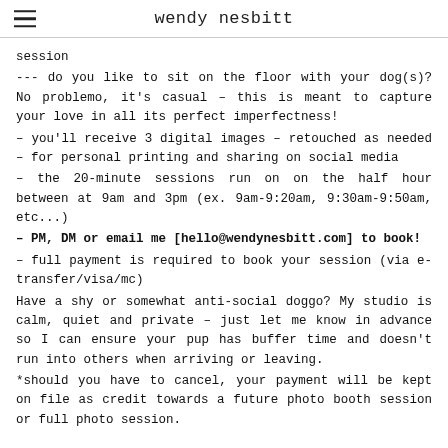wendy nesbitt
session
--- do you like to sit on the floor with your dog(s)? No problemo, it's casual – this is meant to capture your love in all its perfect imperfectness!
– you'll receive 3 digital images – retouched as needed – for personal printing and sharing on social media
– the 20-minute sessions run on on the half hour between at 9am and 3pm (ex. 9am-9:20am, 9:30am-9:50am, etc...)
– PM, DM or email me [hello@wendynesbitt.com] to book!
– full payment is required to book your session (via e-transfer/visa/mc)
Have a shy or somewhat anti-social doggo? My studio is calm, quiet and private – just let me know in advance so I can ensure your pup has buffer time and doesn't run into others when arriving or leaving.
*should you have to cancel, your payment will be kept on file as credit towards a future photo booth session or full photo session.